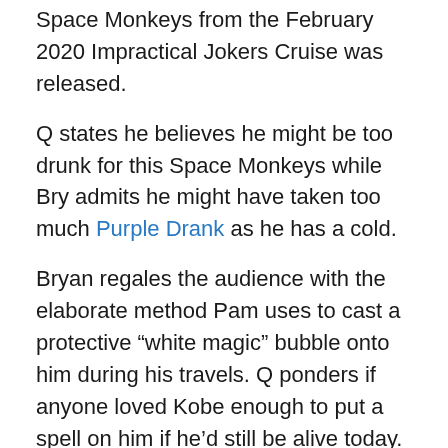Space Monkeys from the February 2020 Impractical Jokers Cruise was released.
Q states he believes he might be too drunk for this Space Monkeys while Bry admits he might have taken too much Purple Drank as he has a cold.
Bryan regales the audience with the elaborate method Pam uses to cast a protective “white magic” bubble onto him during his travels. Q ponders if anyone loved Kobe enough to put a spell on him if he’d still be alive today.
Director Adam Green boasts about directing Frozen to impress younger ladies.
Joe Imburgio explains how being credited as a “comedy producer” is really just a scam to avoid the writers unions.
Bry workshops some Yo Momma “snaps” at Q’s place in